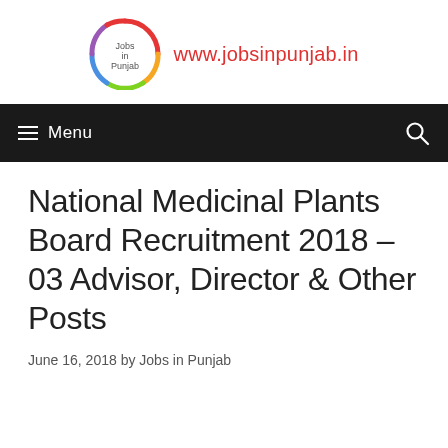www.jobsinpunjab.in
National Medicinal Plants Board Recruitment 2018 – 03 Advisor, Director & Other Posts
June 16, 2018 by Jobs in Punjab